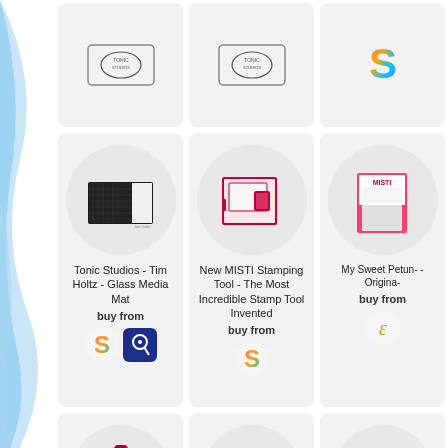[Figure (screenshot): Product grid showing crafting tools and accessories with buy links. Top row: two Tonic Studios logo cards and one colorful S logo. Middle row: Tonic Studios Tim Holtz Glass Media Mat product, New MISTI Stamping Tool product, My Sweet Petunia product (partially visible). Bottom row: three more products partially visible.]
Tonic Studios - Tim Holtz - Glass Media Mat
buy from
New MISTI Stamping Tool - The Most Incredible Stamp Tool Invented
buy from
My Sweet Petun- - Origina-
buy from